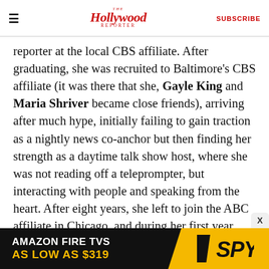The Hollywood Reporter | SUBSCRIBE
reporter at the local CBS affiliate. After graduating, she was recruited to Baltimore's CBS affiliate (it was there that she, Gayle King and Maria Shriver became close friends), arriving after much hype, initially failing to gain traction as a nightly news co-anchor but then finding her strength as a daytime talk show host, where she was not reading off a teleprompter, but interacting with people and speaking from the heart. After eight years, she left to join the ABC affiliate in Chicago, and during her first year there a remarkable series of events made her world famous.
[Figure (screenshot): Amazon Fire TVs advertisement banner: white text 'AMAZON FIRE TVS' on black background, orange text 'AS LOW AS $319', with SPY logo on yellow background]